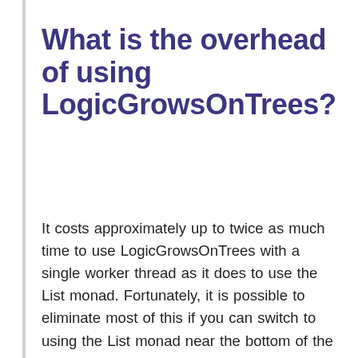What is the overhead of using LogicGrowsOnTrees?
It costs approximately up to twice as much time to use LogicGrowsOnTrees with a single worker thread as it does to use the List monad. Fortunately, it is possible to eliminate most of this if you can switch to using the List monad near the bottom of the tree. For example, my optimized n-queens solver switches to a loop in C when fewer than eleven queens remain to be placed. This is not ``cheating'' for two reasons: first, because the hard part is the symmetry-breaking code, which would have been difficult to implement